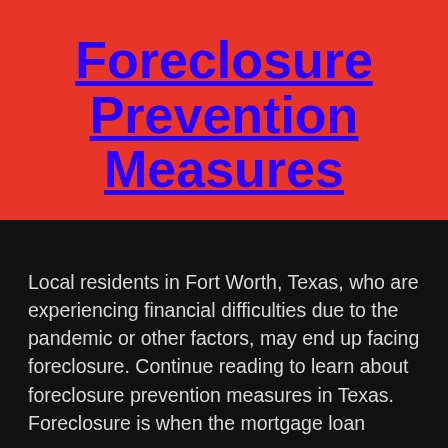Foreclosure Prevention Measures
Local residents in Fort Worth, Texas, who are experiencing financial difficulties due to the pandemic or other factors, may end up facing foreclosure. Continue reading to learn about foreclosure prevention measures in Texas. Foreclosure is when the mortgage loan